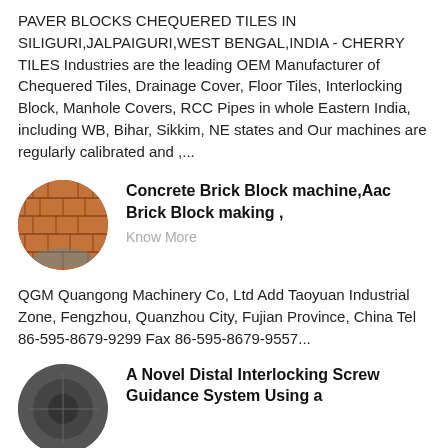PAVER BLOCKS CHEQUERED TILES IN SILIGURI,JALPAIGURI,WEST BENGAL,INDIA - CHERRY TILES Industries are the leading OEM Manufacturer of Chequered Tiles, Drainage Cover, Floor Tiles, Interlocking Block, Manhole Covers, RCC Pipes in whole Eastern India, including WB, Bihar, Sikkim, NE states and Our machines are regularly calibrated and ,...
[Figure (photo): Oval/circular thumbnail photo of brick or paver blocks arranged in rows]
Concrete Brick Block machine,Aac Brick Block making ,
Know More
QGM Quangong Machinery Co, Ltd Add Taoyuan Industrial Zone, Fengzhou, Quanzhou City, Fujian Province, China Tel 86-595-8679-9299 Fax 86-595-8679-9557...
[Figure (photo): Circular thumbnail photo, dark toned, partially visible at bottom of page]
A Novel Distal Interlocking Screw Guidance System Using a